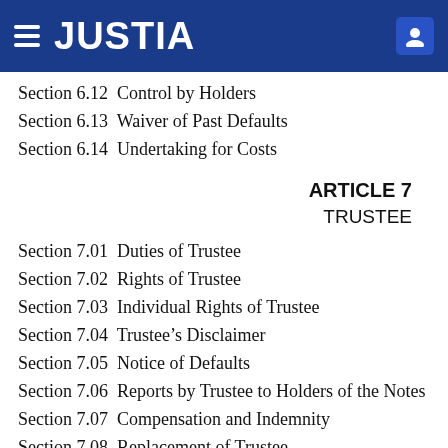JUSTIA
Section 6.12  Control by Holders
Section 6.13  Waiver of Past Defaults
Section 6.14  Undertaking for Costs
ARTICLE 7
TRUSTEE
Section 7.01  Duties of Trustee
Section 7.02  Rights of Trustee
Section 7.03  Individual Rights of Trustee
Section 7.04  Trustee’s Disclaimer
Section 7.05  Notice of Defaults
Section 7.06  Reports by Trustee to Holders of the Notes
Section 7.07  Compensation and Indemnity
Section 7.08  Replacement of Trustee
Section 7.09  Successor Trustee by Merger, etc
Section 7.10  Eligibility; Disqualification